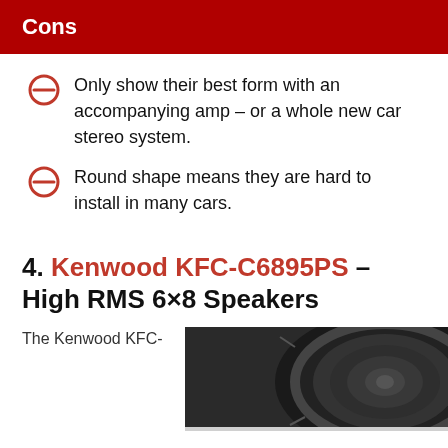Cons
Only show their best form with an accompanying amp – or a whole new car stereo system.
Round shape means they are hard to install in many cars.
4. Kenwood KFC-C6895PS – High RMS 6×8 Speakers
The Kenwood KFC-
[Figure (photo): Close-up photo of a black car speaker (Kenwood KFC-C6895PS), showing the speaker cone and surround from an angle.]